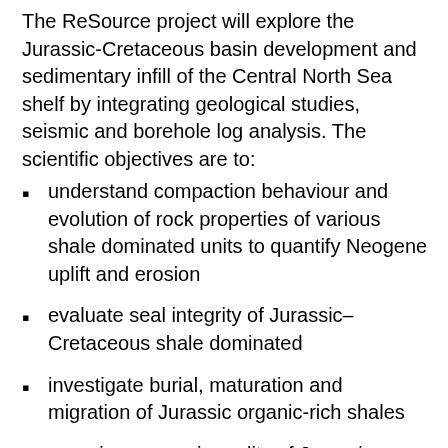The ReSource project will explore the Jurassic-Cretaceous basin development and sedimentary infill of the Central North Sea shelf by integrating geological studies, seismic and borehole log analysis. The scientific objectives are to:
understand compaction behaviour and evolution of rock properties of various shale dominated units to quantify Neogene uplift and erosion
evaluate seal integrity of Jurassic–Cretaceous shale dominated
investigate burial, maturation and migration of Jurassic organic-rich shales
appraise reservoir quality of Jurassic sandstone formations.